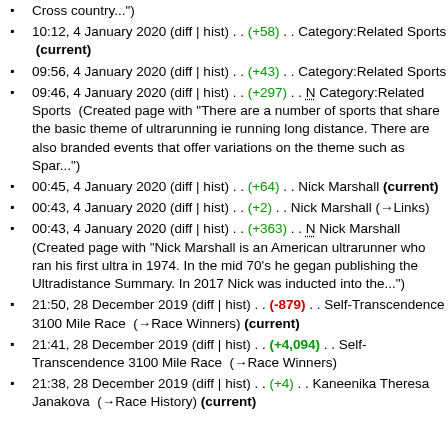Cross country...")
10:12, 4 January 2020 (diff | hist) . . (+58) . . Category:Related Sports (current)
09:56, 4 January 2020 (diff | hist) . . (+43) . . Category:Related Sports
09:46, 4 January 2020 (diff | hist) . . (+297) . . N Category:Related Sports (Created page with "There are a number of sports that share the basic theme of ultrarunning ie running long distance. There are also branded events that offer variations on the theme such as Spar...")
00:45, 4 January 2020 (diff | hist) . . (+64) . . Nick Marshall (current)
00:43, 4 January 2020 (diff | hist) . . (+2) . . Nick Marshall (→Links)
00:43, 4 January 2020 (diff | hist) . . (+363) . . N Nick Marshall (Created page with "Nick Marshall is an American ultrarunner who ran his first ultra in 1974. In the mid 70's he gegan publishing the Ultradistance Summary. In 2017 Nick was inducted into the...")
21:50, 28 December 2019 (diff | hist) . . (-879) . . Self-Transcendence 3100 Mile Race (→Race Winners) (current)
21:41, 28 December 2019 (diff | hist) . . (+4,094) . . Self-Transcendence 3100 Mile Race (→Race Winners)
21:38, 28 December 2019 (diff | hist) . . (+4) . . Kaneenika Theresa Janakova (→Race History) (current)